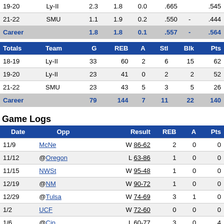|  | Team | G | REB | A | Stl | Blk | Pts |
| --- | --- | --- | --- | --- | --- | --- | --- |
| 19-20 | Ly-II | 2.3 | 1.8 | 0.0 | .665 | - | .545 |
| 21-22 | SMU | 1.1 | 1.9 | 0.2 | .550 | - | .444 |
| Career |  | 1.8 | 1.8 | 0.1 | .557 | - | .564 |
| Totals | Team | G | REB | A | Stl | Blk | Pts |
| --- | --- | --- | --- | --- | --- | --- | --- |
| 18-19 | Ly-II | 33 | 60 | 2 | 6 | 15 | 62 |
| 19-20 | Ly-II | 23 | 41 | 0 | 2 | 2 | 52 |
| 21-22 | SMU | 23 | 43 | 5 | 3 | 5 | 26 |
| Career |  | 79 | 144 | 7 | 11 | 22 | 140 |
Game Logs
| Date | Opp | Result | REB | A | Pts |
| --- | --- | --- | --- | --- | --- |
| 11/9 | McNe | W 86-62 | 2 | 0 | 0 |
| 11/12 | @Oregon | L 63-86 | 1 | 0 | 0 |
| 11/15 | NWSt | W 95-48 | 1 | 0 | 0 |
| 12/19 | @NM | W 90-72 | 1 | 0 | 0 |
| 12/29 | @Tulsa | W 74-69 | 3 | 1 | 0 |
| 1/2 | UCF | W 72-60 | 0 | 0 | 0 |
| 1/6 | @Cin | L 60-77 | 3 | 0 | 4 |
| 1/12 | UCF | W 77-65 | 2 | 0 |  |